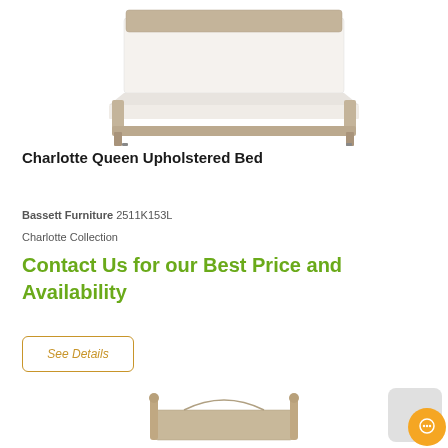[Figure (photo): Charlotte Queen Upholstered Bed product photo showing a light wood platform bed frame with white mattress, photographed from a slightly elevated angle on white background]
Charlotte Queen Upholstered Bed
Bassett Furniture 2511K153L
Charlotte Collection
Contact Us for our Best Price and Availability
See Details
[Figure (photo): Partial view of another bed frame at the bottom of the page, showing decorative headboard posts]